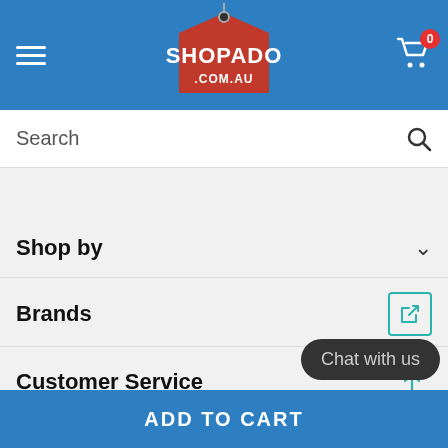SHOPADO .COM.AU — cart: 0
Search
Shop by
Brands
Customer Service
Follow Us
Chat with us
ADD TO CART